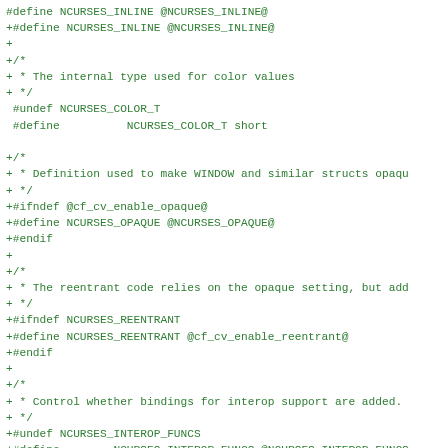Code diff showing ncurses header configuration macros including NCURSES_INLINE, NCURSES_COLOR_T, NCURSES_OPAQUE, NCURSES_REENTRANT, NCURSES_INTEROP_FUNCS, and NCURSES_SIZE_T definitions